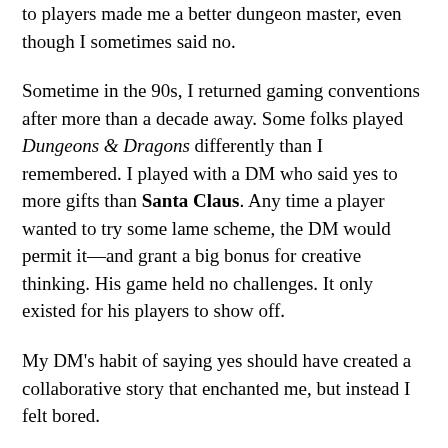to players made me a better dungeon master, even though I sometimes said no.
Sometime in the 90s, I returned gaming conventions after more than a decade away. Some folks played Dungeons & Dragons differently than I remembered. I played with a DM who said yes to more gifts than Santa Claus. Any time a player wanted to try some lame scheme, the DM would permit it—and grant a big bonus for creative thinking. His game held no challenges. It only existed for his players to show off.
My DM's habit of saying yes should have created a collaborative story that enchanted me, but instead I felt bored.
Some folks equate saying yes with good storytelling. From this perspective, characters are the foundation of story. Players control the characters. Only bad DMs keep the